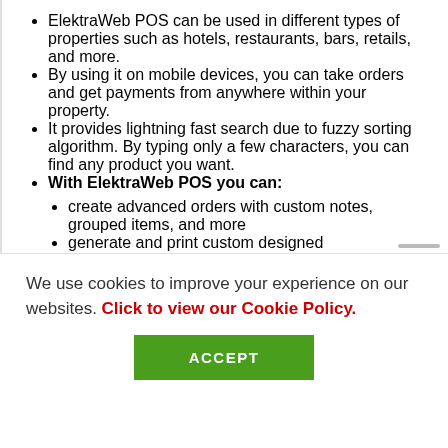ElektraWeb POS can be used in different types of properties such as hotels, restaurants, bars, retails, and more.
By using it on mobile devices, you can take orders and get payments from anywhere within your property.
It provides lightning fast search due to fuzzy sorting algorithm. By typing only a few characters, you can find any product you want.
With ElektraWeb POS you can:
create advanced orders with custom notes, grouped items, and more
generate and print custom designed
We use cookies to improve your experience on our websites. Click to view our Cookie Policy.
ACCEPT